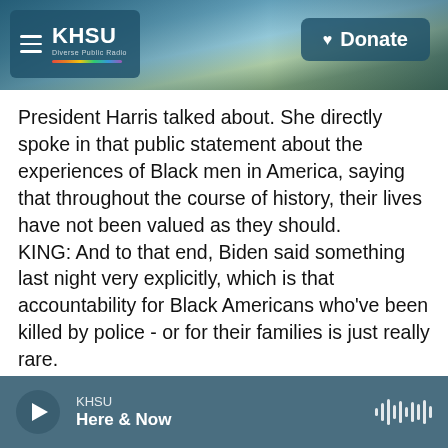[Figure (screenshot): KHSU radio station website header with coastal beach background photo, KHSU logo with hamburger menu on left, and Donate button on right]
President Harris talked about. She directly spoke in that public statement about the experiences of Black men in America, saying that throughout the course of history, their lives have not been valued as they should.
KING: And to that end, Biden said something last night very explicitly, which is that accountability for Black Americans who've been killed by police - or for their families is just really rare.
SUMMERS: Yeah, and he's correct. It is incredibly rare for police officers to be convicted of murder for
[Figure (screenshot): KHSU audio player footer bar showing play button, station name KHSU, program name Here & Now, and waveform audio visualization icon]